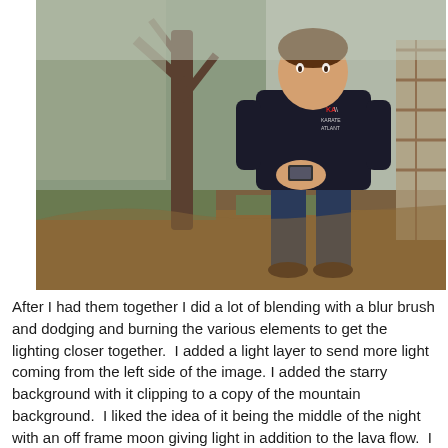[Figure (photo): A boy wearing a dark Karate Atlanta hoodie and jeans, standing outside in a backyard area with bare trees, grass, dry leaves, and a wooden structure in the background. He is holding a small device (phone or controller) in his hands.]
After I had them together I did a lot of blending with a blur brush and dodging and burning the various elements to get the lighting closer together.  I added a light layer to send more light coming from the left side of the image. I added the starry background with it clipping to a copy of the mountain background.  I liked the idea of it being the middle of the night with an off frame moon giving light in addition to the lava flow.  I added a few texture layers - a glitter one set to